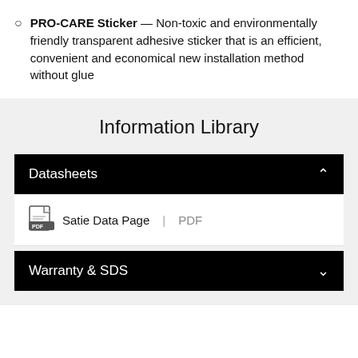PRO-CARE Sticker — Non-toxic and environmentally friendly transparent adhesive sticker that is an efficient, convenient and economical new installation method without glue
Information Library
Datasheets
Satie Data Page | PDF
Warranty & SDS